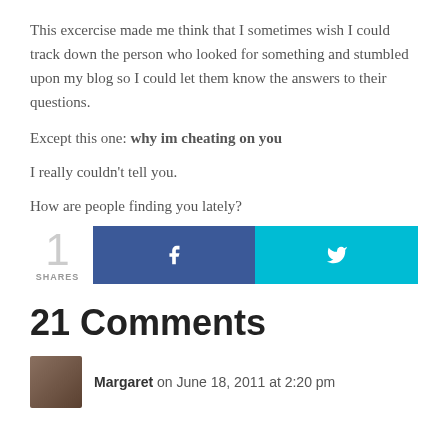This excercise made me think that I sometimes wish I could track down the person who looked for something and stumbled upon my blog so I could let them know the answers to their questions.
Except this one: why im cheating on you
I really couldn’t tell you.
How are people finding you lately?
[Figure (infographic): Social share count widget showing 1 SHARES with Facebook and Twitter share buttons]
21 Comments
Margaret on June 18, 2011 at 2:20 pm